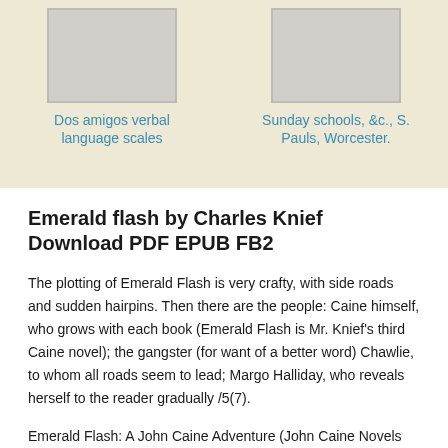[Figure (illustration): Book cover thumbnail placeholder (gray rectangle) for 'Dos amigos verbal language scales']
Dos amigos verbal language scales
[Figure (illustration): Book cover thumbnail placeholder (gray rectangle) for 'Sunday schools, &c., S. Pauls, Worcester.']
Sunday schools, &c., S. Pauls, Worcester.
Emerald flash by Charles Knief Download PDF EPUB FB2
The plotting of Emerald Flash is very crafty, with side roads and sudden hairpins. Then there are the people: Caine himself, who grows with each book (Emerald Flash is Mr. Knief's third Caine novel); the gangster (for want of a better word) Chawlie, to whom all roads seem to lead; Margo Halliday, who reveals herself to the reader gradually /5(7).
Emerald Flash: A John Caine Adventure (John Caine Novels Book 3) - Kindle edition by Knief, Charles. Download it once and read it on your Kindle device, PC, phones or tablets.